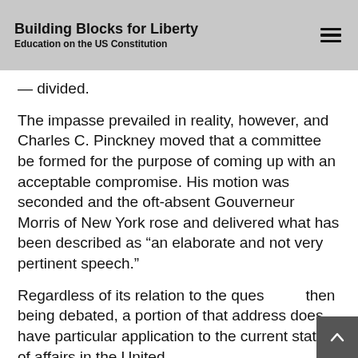Building Blocks for Liberty — Education on the US Constitution
— divided.
The impasse prevailed in reality, however, and Charles C. Pinckney moved that a committee be formed for the purpose of coming up with an acceptable compromise. His motion was seconded and the oft-absent Gouverneur Morris of New York rose and delivered what has been described as “an elaborate and not very pertinent speech.”
Regardless of its relation to the question then being debated, a portion of that address does have particular application to the current state of affairs in the United